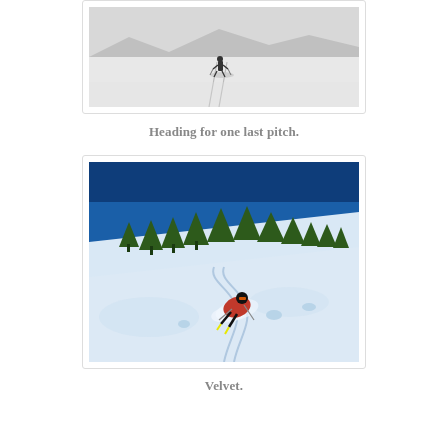[Figure (photo): A lone skier on a flat snowy cross-country track, viewed from behind, heading toward distant snow-covered hills. Ski tracks visible in the snow.]
Heading for one last pitch.
[Figure (photo): A skier in a red jacket carving a deep powder turn on a snowy slope with pine trees and blue sky in the background. Fresh ski tracks curve in the snow.]
Velvet.